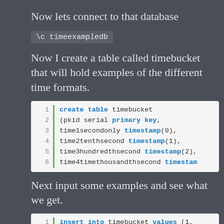Now lets connect to that database
\c timeexampledb
Now I create a table called timebucket that will hold examples of the different time formats.
[Figure (screenshot): Code block showing SQL: create table timebucket (pkid serial primary key, time1secondonly timestamp(0), time2tenthsecond timestamp(1), time3hundredthsecond timestamp(2), time4timethousandthsecond timestamp...]
Next input some examples and see what we get.
[Figure (screenshot): Code block showing SQL: insert into timebucket values (1, ... insert into timebucket values (2, ...]